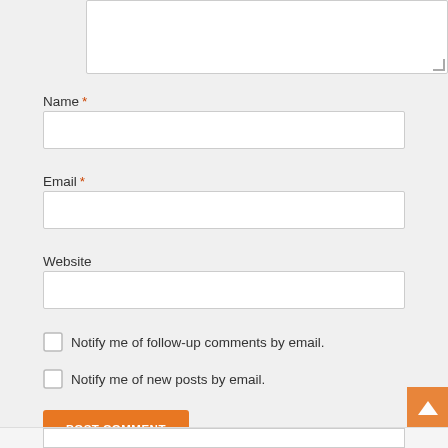[Figure (screenshot): Textarea input field (comment box) at top of page, white background with border and resize handle]
Name *
[Figure (screenshot): Text input field for Name]
Email *
[Figure (screenshot): Text input field for Email]
Website
[Figure (screenshot): Text input field for Website]
Notify me of follow-up comments by email.
Notify me of new posts by email.
POST COMMENT